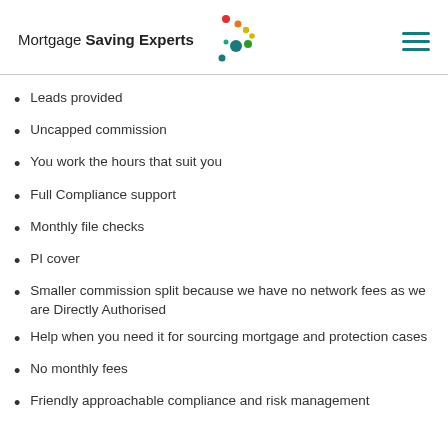[Figure (logo): Mortgage Saving Experts logo with colorful dots]
Leads provided
Uncapped commission
You work the hours that suit you
Full Compliance support
Monthly file checks
PI cover
Smaller commission split because we have no network fees as we are Directly Authorised
Help when you need it for sourcing mortgage and protection cases
No monthly fees
Friendly approachable compliance and risk management